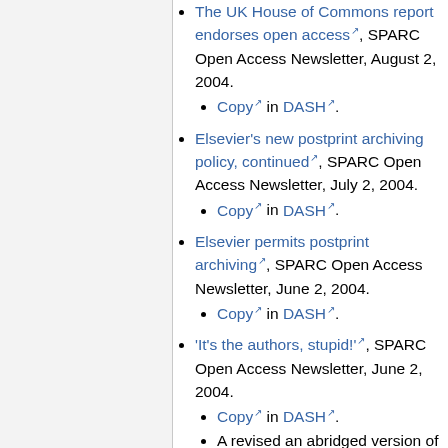The UK House of Commons report endorses open access, SPARC Open Access Newsletter, August 2, 2004.
Copy in DASH.
Elsevier's new postprint archiving policy, continued, SPARC Open Access Newsletter, July 2, 2004.
Copy in DASH.
Elsevier permits postprint archiving, SPARC Open Access Newsletter, June 2, 2004.
Copy in DASH.
'It's the authors, stupid!', SPARC Open Access Newsletter, June 2, 2004.
Copy in DASH.
A revised an abridged version of